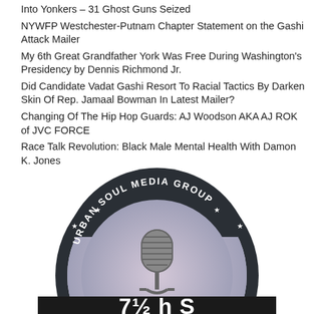Into Yonkers – 31 Ghost Guns Seized
NYWFP Westchester-Putnam Chapter Statement on the Gashi Attack Mailer
My 6th Great Grandfather York Was Free During Washington's Presidency by Dennis Richmond Jr.
Did Candidate Vadat Gashi Resort To Racial Tactics By Darken Skin Of Rep. Jamaal Bowman In Latest Mailer?
Changing Of The Hip Hop Guards: AJ Woodson AKA AJ ROK of JVC FORCE
Race Talk Revolution: Black Male Mental Health With Damon K. Jones
[Figure (logo): Urban Soul Media Group circular logo with microphone illustration and partial text at bottom]